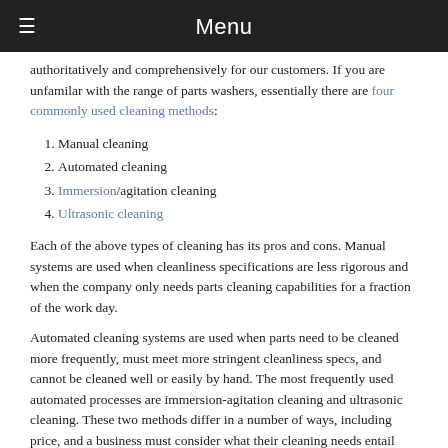Menu
authoritatively and comprehensively for our customers. If you are unfamilar with the range of parts washers, essentially there are four commonly used cleaning methods:
1. Manual cleaning
2. Automated cleaning
3. Immersion/agitation cleaning
4. Ultrasonic cleaning
Each of the above types of cleaning has its pros and cons. Manual systems are used when cleanliness specifications are less rigorous and when the company only needs parts cleaning capabilities for a fraction of the work day.
Automated cleaning systems are used when parts need to be cleaned more frequently, must meet more stringent cleanliness specs, and cannot be cleaned well or easily by hand. The most frequently used automated processes are immersion-agitation cleaning and ultrasonic cleaning. These two methods differ in a number of ways, including price, and a business must consider what their cleaning needs entail specifically.
Cabinet washers operate much like dishwashers, and conveyor belt systems, and additional rinse or drying cycles may be easily added on